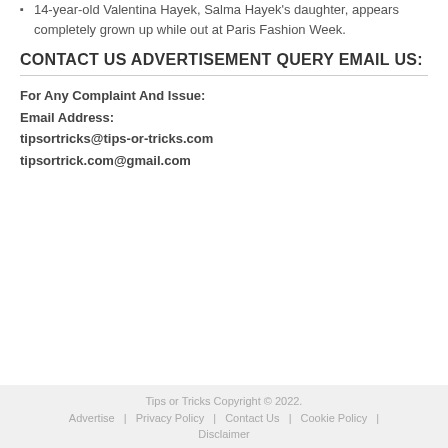14-year-old Valentina Hayek, Salma Hayek's daughter, appears completely grown up while out at Paris Fashion Week.
CONTACT US ADVERTISEMENT QUERY EMAIL US:
For Any Complaint And Issue:
Email Address:
tipsortricks@tips-or-tricks.com
tipsortrick.com@gmail.com
Tips or Tricks Copyright © 2022.
Advertise | Privacy Policy | Contact Us | Cookie Policy |
Disclaimer